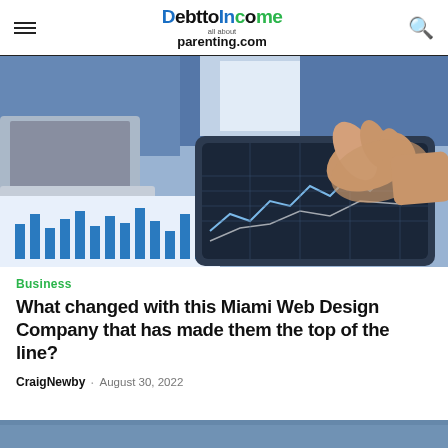DebttoIncome / all about parenting.com
[Figure (photo): Person pointing at a financial chart on a tablet, with a laptop and printed bar charts visible on a desk in the background.]
Business
What changed with this Miami Web Design Company that has made them the top of the line?
CraigNewby · August 30, 2022
[Figure (photo): Partial bottom image, cropped at page edge.]